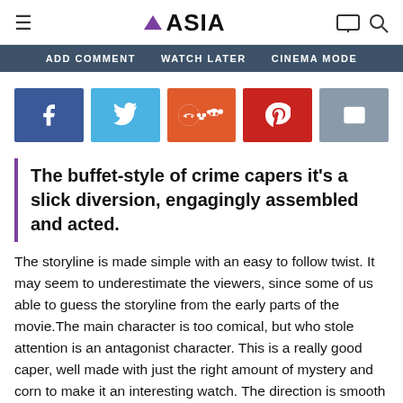VASIA
ADD COMMENT  WATCH LATER  CINEMA MODE
[Figure (infographic): Social sharing buttons row: Facebook (dark blue), Twitter (light blue), Reddit (orange), Pinterest (red), Email (grey)]
The buffet-style of crime capers it's a slick diversion, engagingly assembled and acted.
The storyline is made simple with an easy to follow twist. It may seem to underestimate the viewers, since some of us able to guess the storyline from the early parts of the movie.The main character is too comical, but who stole attention is an antagonist character. This is a really good caper, well made with just the right amount of mystery and corn to make it an interesting watch. The direction is smooth and the cast is winning. Worth a watch. m. Fantastic